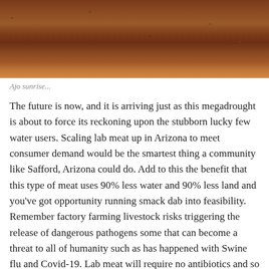[Figure (photo): Ajo sunrise landscape photo showing reddish-brown terrain or soil texture]
Ajo sunrise...
The future is now, and it is arriving just as this megadrought is about to force its reckoning upon the stubborn lucky few water users. Scaling lab meat up in Arizona to meet consumer demand would be the smartest thing a community like Safford, Arizona could do. Add to this the benefit that this type of meat uses 90% less water and 90% less land and you've got opportunity running smack dab into feasibility. Remember factory farming livestock risks triggering the release of dangerous pathogens some that can become a threat to all of humanity such as has happened with Swine flu and Covid-19. Lab meat will require no antibiotics and so far, is proving to be one of the safest most efficient methods of production. I know, I know—but does it taste good? Will consumers eat laboratory meat? So far so good. Most who have sampled Upside Foods